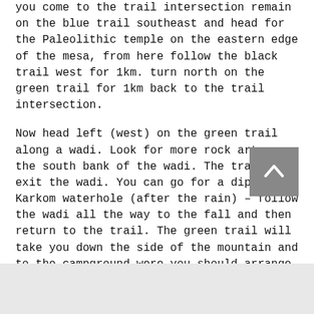you come to the trail intersection remain on the blue trail southeast and head for the Paleolithic temple on the eastern edge of the mesa, from here follow the black trail west for 1km. turn north on the green trail for 1km back to the trail intersection.
Now head left (west) on the green trail along a wadi. Look for more rock art on the south bank of the wadi. The trail will exit the wadi. You can go for a dip in Karkom waterhole (after the rain) – follow the wadi all the way to the fall and then return to the trail. The green trail will take you down the side of the mountain and to the campground were you should arrange a pickup.
Attractions: walk along a natural bridge, rock art, desert shrines